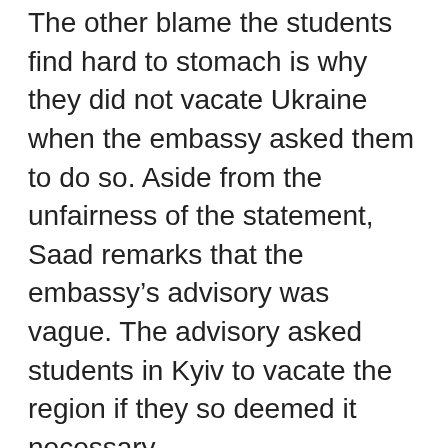The other blame the students find hard to stomach is why they did not vacate Ukraine when the embassy asked them to do so. Aside from the unfairness of the statement, Saad remarks that the embassy's advisory was vague. The advisory asked students in Kyiv to vacate the region if they so deemed it necessary.
“Despite all this, we were left to fend for ourselves. I don’t come from a very plush background. My family in Gorakhpur does not have a lot of money. We scrounged up some money and used private vehicles to travel from one place to another,” says Saad.